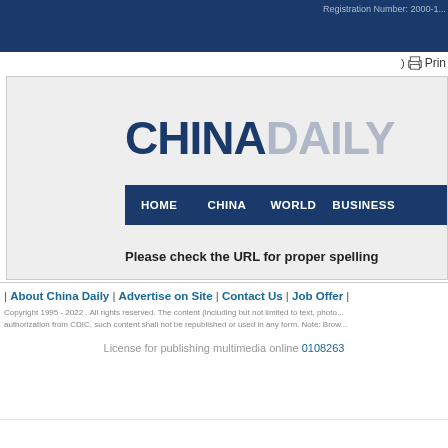Registration Number: 2000-...
) Print
[Figure (logo): China Daily logo with CHINA in dark blue bold and DAILY in gray bold, followed by a dark blue navigation bar with HOME, CHINA, WORLD, BUSINESS]
Please check the URL for proper spelling
| About China Daily | Advertise on Site | Contact Us | Job Offer | Copyright 1995 - 2022 . All rights reserved. The content (including but not limited to text, photo... authorization from CDIC, such content shall not be republished or used in any form. Note: Brow... License for publishing multimedia online 0108263